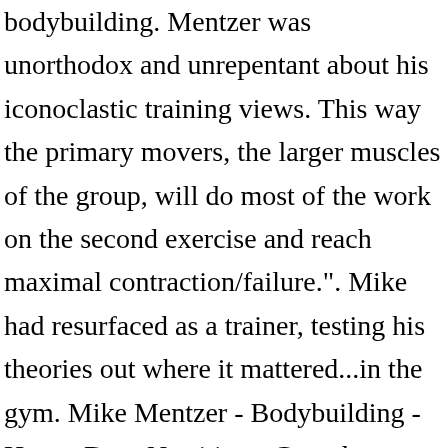bodybuilding. Mentzer was unorthodox and unrepentant about his iconoclastic training views. This way the primary movers, the larger muscles of the group, will do most of the work on the second exercise and reach maximal contraction/failure.". Mike had resurfaced as a trainer, testing his theories out where it mattered...in the gym. Mike Mentzer - Bodybuilding - Heavy Duty Nutrition - Complete - Free download as PDF File (.pdf), Text File (.txt) or read online for free. The Heavy Duty site provides the latest information on training,